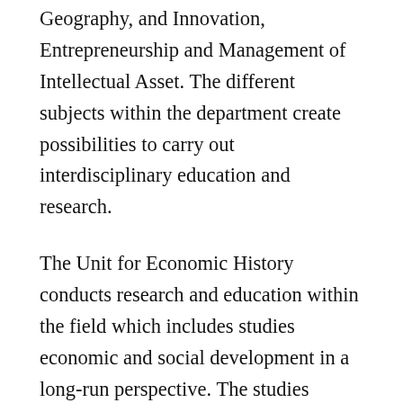Geography, and Innovation, Entrepreneurship and Management of Intellectual Asset. The different subjects within the department create possibilities to carry out interdisciplinary education and research.
The Unit for Economic History conducts research and education within the field which includes studies economic and social development in a long-run perspective. The studies concern current topics relating to globalisation, the environment, migration and gender from the perspective of economic history. Classical issues relating to economic growth and distribution are also studied. The unit offers doctoral education as well as single- subject courses. Bachelor's and Master's level